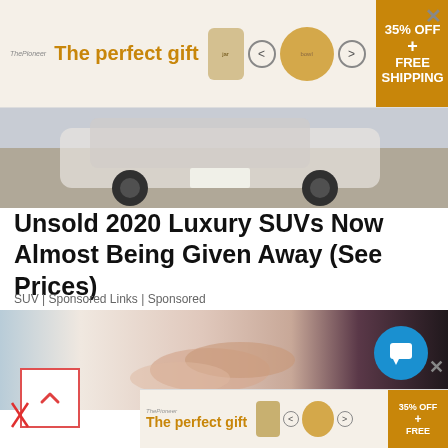[Figure (screenshot): Top advertisement banner: 'The perfect gift' with cooking pot images, navigation arrows, and '35% OFF + FREE SHIPPING' on orange-gold background, with X close button]
[Figure (photo): Partial view of a luxury SUV car from behind, in a street/parking setting]
Unsold 2020 Luxury SUVs Now Almost Being Given Away (See Prices)
SUV | Sponsored Links | Sponsored
[Figure (photo): Two people holding hands — a caregiver or medical professional holding hands with a patient, close-up of hands]
[Figure (screenshot): Bottom advertisement banner: 'The perfect gift' with '35% OFF + FREE' on orange-gold background]
[Figure (other): Scroll-up arrow button (red border, red chevron up arrow) at bottom left]
[Figure (other): Blue circular chat/messaging button at bottom right with white chat icon]